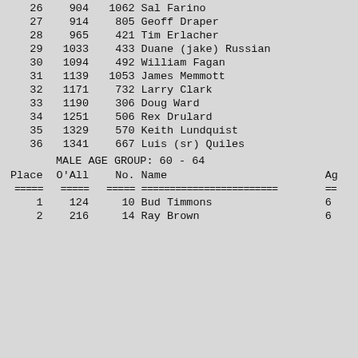| Place | O'All | No. | Name | Ag |
| --- | --- | --- | --- | --- |
| 26 | 904 | 1062 | Sal Farino |  |
| 27 | 914 | 805 | Geoff Draper |  |
| 28 | 965 | 421 | Tim Erlacher |  |
| 29 | 1033 | 433 | Duane (jake) Russian |  |
| 30 | 1094 | 492 | William Fagan |  |
| 31 | 1139 | 1053 | James Memmott |  |
| 32 | 1171 | 732 | Larry Clark |  |
| 33 | 1190 | 306 | Doug Ward |  |
| 34 | 1251 | 506 | Rex Drulard |  |
| 35 | 1329 | 570 | Keith Lundquist |  |
| 36 | 1341 | 667 | Luis (sr) Quiles |  |
MALE AGE GROUP:  60 - 64
| Place | O'All | No. | Name | Ag |
| --- | --- | --- | --- | --- |
| 1 | 124 | 10 | Bud Timmons | 6 |
| 2 | 216 | 14 | Ray Brown | 6 |